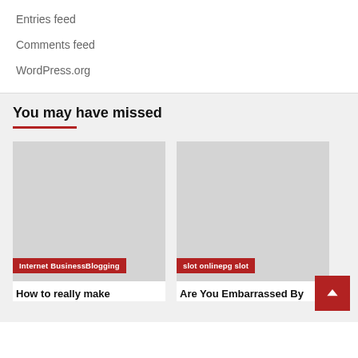Entries feed
Comments feed
WordPress.org
You may have missed
[Figure (screenshot): Placeholder image card with tag 'Internet BusinessBlogging']
[Figure (screenshot): Placeholder image card with tag 'slot onlinepg slot']
How to really make
Are You Embarrassed By